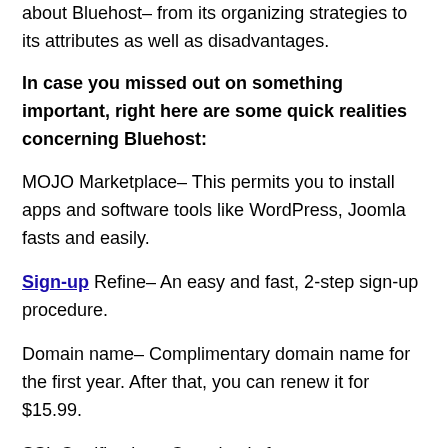about Bluehost– from its organizing strategies to its attributes as well as disadvantages.
In case you missed out on something important, right here are some quick realities concerning Bluehost:
MOJO Marketplace– This permits you to install apps and software tools like WordPress, Joomla fasts and easily.
Sign-up Refine– An easy and fast, 2-step sign-up procedure.
Domain name– Complimentary domain name for the first year. After that, you can renew it for $15.99.
SSL Certification– Completely free.
Repayment methods– Via PayPal or a credit card.
Concealed terms and conditions? You will not get any kind of reimbursement on your domain. And also, the renewal rates for